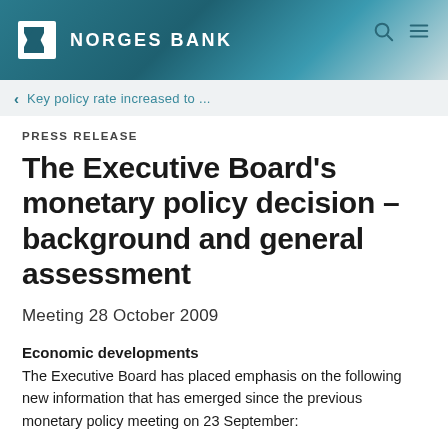NORGES BANK
Key policy rate increased to ...
PRESS RELEASE
The Executive Board's monetary policy decision – background and general assessment
Meeting 28 October 2009
Economic developments
The Executive Board has placed emphasis on the following new information that has emerged since the previous monetary policy meeting on 23 September: